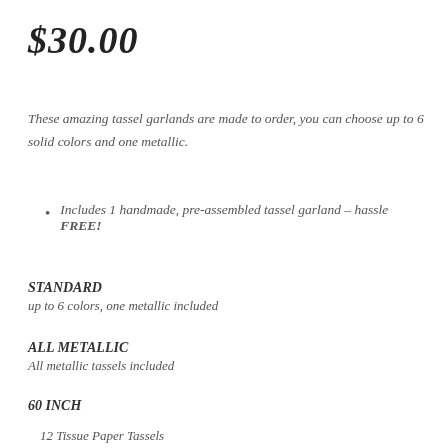$30.00
These amazing tassel garlands are made to order, you can choose up to 6 solid colors and one metallic.
Includes 1 handmade, pre-assembled tassel garland – hassle FREE!
STANDARD
up to 6 colors, one metallic included
ALL METALLIC
All metallic tassels included
60 INCH
12 Tissue Paper Tassels